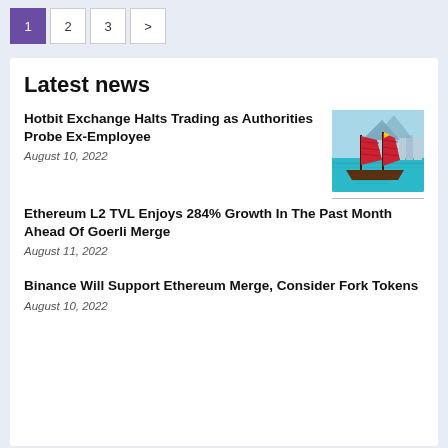1 2 3 >
Latest news
Hotbit Exchange Halts Trading as Authorities Probe Ex-Employee
August 10, 2022
[Figure (photo): Traditional red-sailed junk boat on turquoise water with Hong Kong skyline in background]
Ethereum L2 TVL Enjoys 284% Growth In The Past Month Ahead Of Goerli Merge
August 11, 2022
Binance Will Support Ethereum Merge, Consider Fork Tokens
August 10, 2022